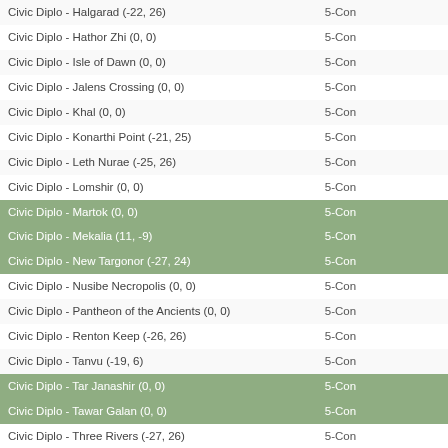| Name | Type |
| --- | --- |
| Civic Diplo - Halgarad (-22, 26) | 5-Con |
| Civic Diplo - Hathor Zhi (0, 0) | 5-Con |
| Civic Diplo - Isle of Dawn (0, 0) | 5-Con |
| Civic Diplo - Jalens Crossing (0, 0) | 5-Con |
| Civic Diplo - Khal (0, 0) | 5-Con |
| Civic Diplo - Konarthi Point (-21, 25) | 5-Con |
| Civic Diplo - Leth Nurae (-25, 26) | 5-Con |
| Civic Diplo - Lomshir (0, 0) | 5-Con |
| Civic Diplo - Martok (0, 0) | 5-Con |
| Civic Diplo - Mekalia (11, -9) | 5-Con |
| Civic Diplo - New Targonor (-27, 24) | 5-Con |
| Civic Diplo - Nusibe Necropolis (0, 0) | 5-Con |
| Civic Diplo - Pantheon of the Ancients (0, 0) | 5-Con |
| Civic Diplo - Renton Keep (-26, 26) | 5-Con |
| Civic Diplo - Tanvu (-19, 6) | 5-Con |
| Civic Diplo - Tar Janashir (0, 0) | 5-Con |
| Civic Diplo - Tawar Galan (0, 0) | 5-Con |
| Civic Diplo - Three Rivers (-27, 26) | 5-Con |
| Civic Diplo - Tursh (-27, 27) | 5-Con |
| Civic Diplo - Veskal's (-24, 26) | 5-Con |
| Dahknarg (0, 0) | 5-Con |
| Diplomacy - Drink Card - Bitter Truths (0, 0) | 5-Con |
| Diplomacy - Drink Card - Wisdom in Wine (0, 0) | 5-Con |